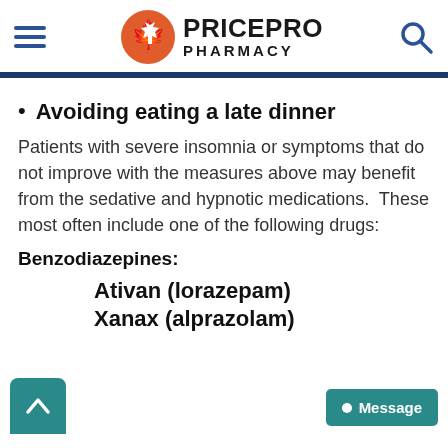PricePro Pharmacy
Avoiding eating a late dinner
Patients with severe insomnia or symptoms that do not improve with the measures above may benefit from the sedative and hypnotic medications.  These most often include one of the following drugs:
Benzodiazepines:
Ativan (lorazepam)
Xanax (alprazolam)